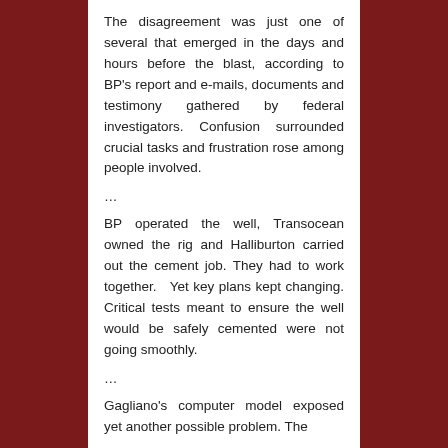The disagreement was just one of several that emerged in the days and hours before the blast, according to BP's report and e-mails, documents and testimony gathered by federal investigators. Confusion surrounded crucial tasks and frustration rose among people involved.
...
BP operated the well, Transocean owned the rig and Halliburton carried out the cement job. They had to work together. Yet key plans kept changing. Critical tests meant to ensure the well would be safely cemented were not going smoothly.
...
Gagliano's computer model exposed yet another possible problem. The